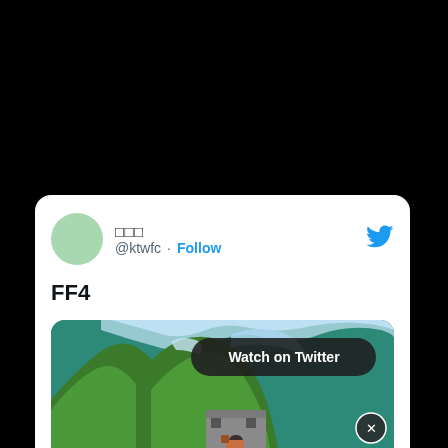[Figure (screenshot): Tweet card from @ktwfc with text 'FF4' and a video game screenshot showing a retro pixel art mountain/castle scene with a 'Watch on Twitter' button overlay, plus an HBO House of the Dragon ad banner at the bottom]
□□□
@ktwfc · Follow
FF4
Watch on Twitter
House of Dragon - HBO Original - Now Streaming - HBOmax